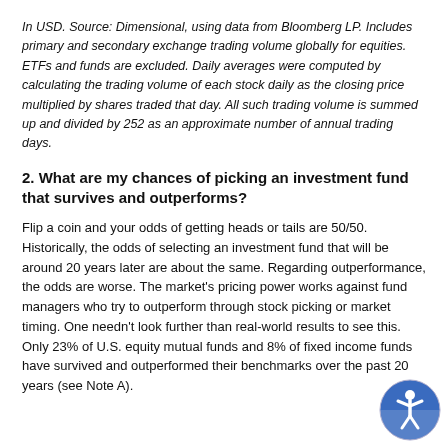In USD. Source: Dimensional, using data from Bloomberg LP. Includes primary and secondary exchange trading volume globally for equities. ETFs and funds are excluded. Daily averages were computed by calculating the trading volume of each stock daily as the closing price multiplied by shares traded that day. All such trading volume is summed up and divided by 252 as an approximate number of annual trading days.
2. What are my chances of picking an investment fund that survives and outperforms?
Flip a coin and your odds of getting heads or tails are 50/50. Historically, the odds of selecting an investment fund that will be around 20 years later are about the same. Regarding outperformance, the odds are worse. The market's pricing power works against fund managers who try to outperform through stock picking or market timing. One needn't look further than real-world results to see this. Only 23% of U.S. equity mutual funds and 8% of fixed income funds have survived and outperformed their benchmarks over the past 20 years (see Note A).